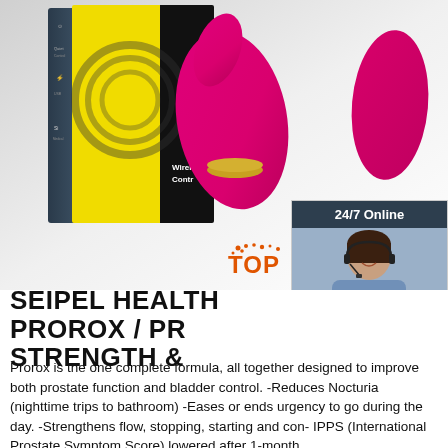[Figure (photo): Product photo showing pink silicone device with product box (yellow/black packaging with wireless control branding), dark side panel, and additional pink device on the right. Overlaid with a customer service chat widget showing a woman with headset, '24/7 Online' header, 'Click here for free chat!' text, and orange QUOTATION button. A 'TOP' watermark in orange with dot cluster appears near bottom right of image.]
SEIPEL HEALTH PROROX / PR STRENGTH &
Prorox is the one complete formula, all together designed to improve both prostate function and bladder control. -Reduces Nocturia (nighttime trips to bathroom) -Eases or ends urgency to go during the day. -Strengthens flow, stopping, starting and con- IPPS (International Prostate Symptom Score) lowered after 1-month.